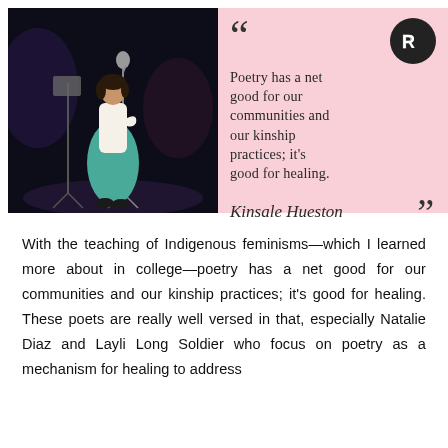[Figure (photo): A young woman in a white blouse and teal/green flowing skirt standing at a microphone on a stage with a music stand nearby, performing spoken word or poetry against a dark background with stage lighting.]
Poetry has a net good for our communities and our kinship practices; it's good for healing. — Kinsale Hueston
With the teaching of Indigenous feminisms—which I learned more about in college—poetry has a net good for our communities and our kinship practices; it's good for healing. These poets are really well versed in that, especially Natalie Diaz and Layli Long Soldier who focus on poetry as a mechanism for healing to address